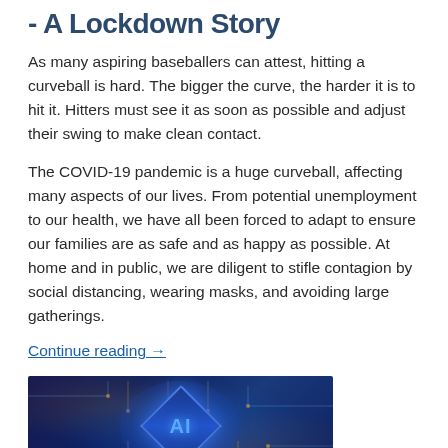- A Lockdown Story
As many aspiring baseballers can attest, hitting a curveball is hard. The bigger the curve, the harder it is to hit it. Hitters must see it as soon as possible and adjust their swing to make clean contact.
The COVID-19 pandemic is a huge curveball, affecting many aspects of our lives. From potential unemployment to our health, we have all been forced to adapt to ensure our families are as safe and as happy as possible. At home and in public, we are diligent to stifle contagion by social distancing, wearing masks, and avoiding large gatherings.
Continue reading →
[Figure (photo): A photo of a glowing blue AI diamond/rhombus chip on a dark circuit board background with the text 'AI' in bright blue letters in the center.]